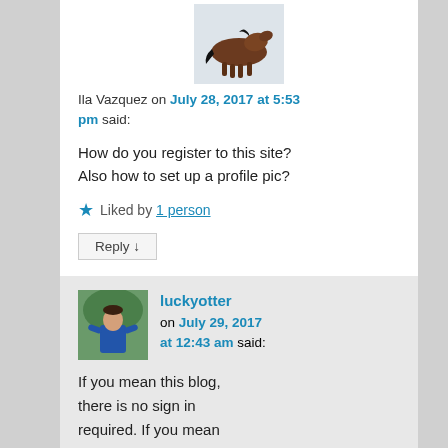[Figure (photo): Photo of a brown horse running in snow]
Ila Vazquez on July 28, 2017 at 5:53 pm said:
How do you register to this site? Also how to set up a profile pic?
★ Liked by 1 person
Reply ↓
[Figure (photo): Photo of a person standing outdoors — luckyotter avatar]
luckyotter on July 29, 2017 at 12:43 am said:
If you mean this blog, there is no sign in required. If you mean WordPress, you don't need to log in unless you